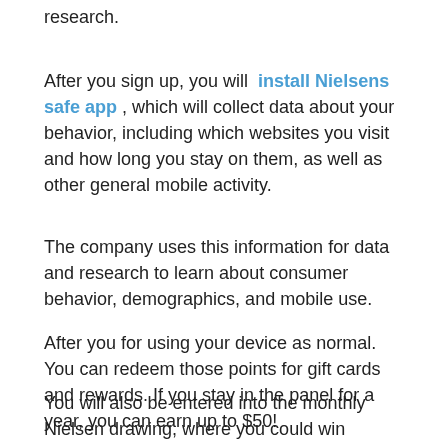research.
After you sign up, you will install Nielsens safe app , which will collect data about your behavior, including which websites you visit and how long you stay on them, as well as other general mobile activity.
The company uses this information for data and research to learn about consumer behavior, demographics, and mobile use.
After you for using your device as normal. You can redeem those points for gift cards and rewards. If you stay in the panel for a year, you can earn up to $50!
You will also be entered into the monthly Nielsen drawing, where you could win $10,000. This company also awards $1,000 prizes to 400 winners every single month!